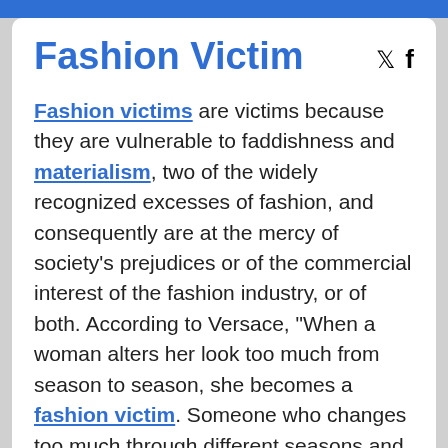Fashion Victim
Fashion victims are victims because they are vulnerable to faddishness and materialism, two of the widely recognized excesses of fashion, and consequently are at the mercy of society's prejudices or of the commercial interest of the fashion industry, or of both. According to Versace, "When a woman alters her look too much from season to season, she becomes a fashion victim. Someone who changes too much through different seasons and not wearing what they like , just wearing what is the most fashionable thing at the moment.